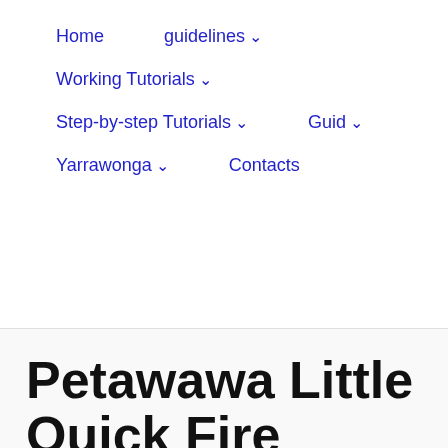Home   guidelines ⌄   Working Tutorials ⌄   Step-by-step Tutorials ⌄   Guid ⌄   Yarrawonga ⌄   Contacts
Petawawa Little Quick Fire